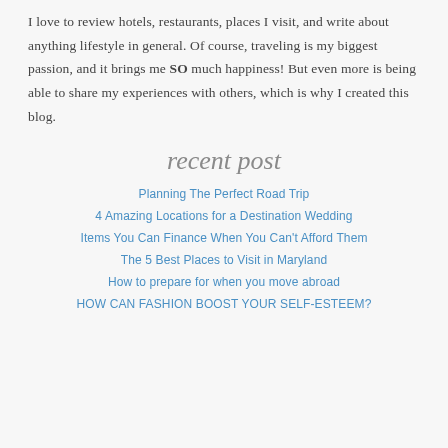I love to review hotels, restaurants, places I visit, and write about anything lifestyle in general. Of course, traveling is my biggest passion, and it brings me SO much happiness! But even more is being able to share my experiences with others, which is why I created this blog.
recent post
Planning The Perfect Road Trip
4 Amazing Locations for a Destination Wedding
Items You Can Finance When You Can't Afford Them
The 5 Best Places to Visit in Maryland
How to prepare for when you move abroad
HOW CAN FASHION BOOST YOUR SELF-ESTEEM?